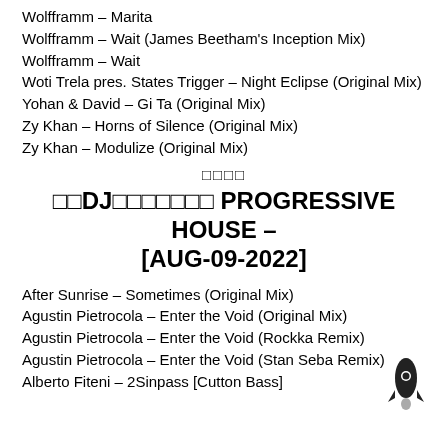Wolfframm – Marita
Wolfframm – Wait (James Beetham's Inception Mix)
Wolfframm – Wait
Woti Trela pres. States Trigger – Night Eclipse (Original Mix)
Yohan & David – Gi Ta (Original Mix)
Zy Khan – Horns of Silence (Original Mix)
Zy Khan – Modulize (Original Mix)
□□□□
□□DJ□□□□□□□ PROGRESSIVE HOUSE – [AUG-09-2022]
After Sunrise – Sometimes (Original Mix)
Agustin Pietrocola – Enter the Void (Original Mix)
Agustin Pietrocola – Enter the Void (Rockka Remix)
Agustin Pietrocola – Enter the Void (Stan Seba Remix)
Alberto Fiteni – 2Sinpass [Cutton Bass]